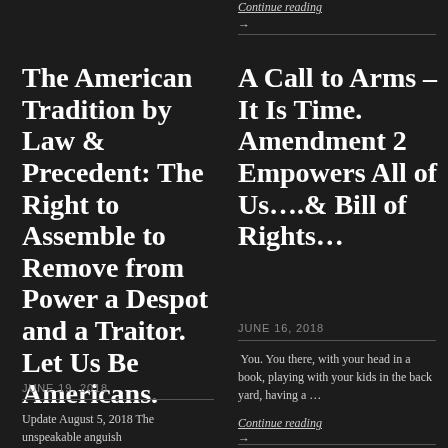Continue reading
→
The American Tradition by Law & Precedent: The Right to Assemble to Remove from Power a Despot and a Traitor. Let Us Be Americans.
JUNE 19, 2018
Update August 5, 2018 The unspeakable anguish
A Call to Arms – It Is Time. Amendment 2 Empowers All of Us….& Bill of Rights…
JUNE 16, 2018
You. You there, with your head in a book, playing with your kids in the back yard, having a …
Continue reading
→